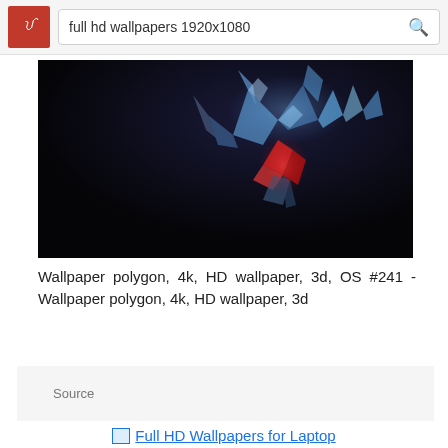full hd wallpapers 1920x1080
[Figure (photo): Abstract 3D polygon wallpaper with blue and red geometric spiky shape on dark background]
Wallpaper polygon, 4k, HD wallpaper, 3d, OS #241 - Wallpaper polygon, 4k, HD wallpaper, 3d
Source
Full HD Wallpapers for Laptop